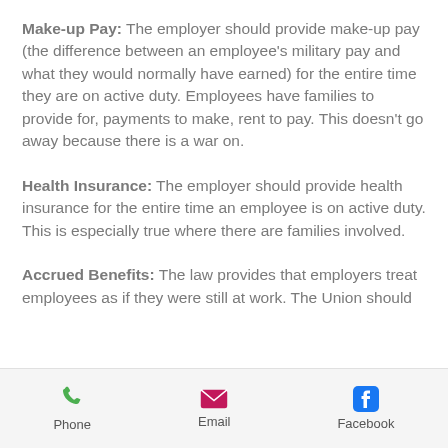Make-up Pay: The employer should provide make-up pay (the difference between an employee's military pay and what they would normally have earned) for the entire time they are on active duty. Employees have families to provide for, payments to make, rent to pay. This doesn't go away because there is a war on.
Health Insurance: The employer should provide health insurance for the entire time an employee is on active duty. This is especially true where there are families involved.
Accrued Benefits: The law provides that employers treat employees as if they were still at work. The Union should
Phone   Email   Facebook